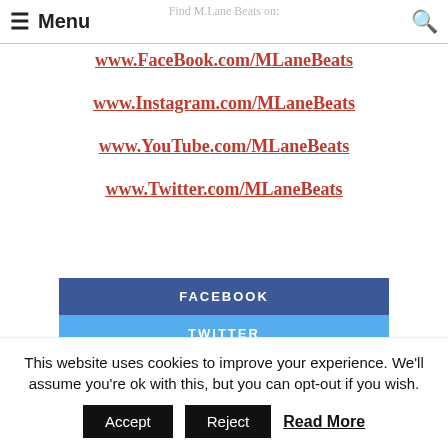Menu | Find M.Lane Beats on:
www.FaceBook.com/MLaneBeats
www.Instagram.com/MLaneBeats
www.YouTube.com/MLaneBeats
www.Twitter.com/MLaneBeats
[Figure (infographic): Three social share buttons stacked: FACEBOOK (blue), TWITTER (light blue), GOOGLE (red-orange), followed by a thin red bar]
This website uses cookies to improve your experience. We'll assume you're ok with this, but you can opt-out if you wish. Accept Reject Read More